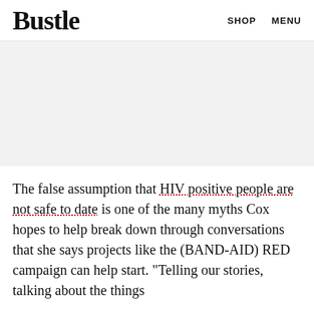Bustle   SHOP   MENU
[Figure (photo): Large image placeholder area with light gray background]
The false assumption that HIV positive people are not safe to date is one of the many myths Cox hopes to help break down through conversations that she says projects like the (BAND-AID) RED campaign can help start. "Telling our stories, talking about the things